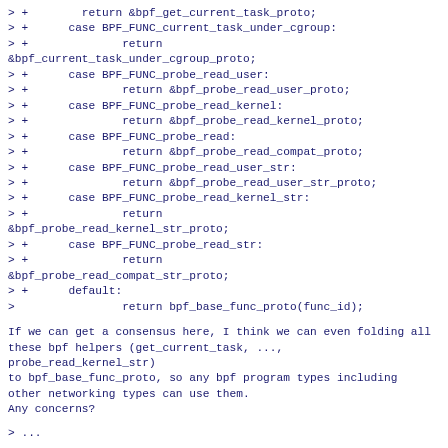> +        return &bpf_get_current_task_proto;
> +      case BPF_FUNC_current_task_under_cgroup:
> +              return
&bpf_current_task_under_cgroup_proto;
> +      case BPF_FUNC_probe_read_user:
> +              return &bpf_probe_read_user_proto;
> +      case BPF_FUNC_probe_read_kernel:
> +              return &bpf_probe_read_kernel_proto;
> +      case BPF_FUNC_probe_read:
> +              return &bpf_probe_read_compat_proto;
> +      case BPF_FUNC_probe_read_user_str:
> +              return &bpf_probe_read_user_str_proto;
> +      case BPF_FUNC_probe_read_kernel_str:
> +              return
&bpf_probe_read_kernel_str_proto;
> +      case BPF_FUNC_probe_read_str:
> +              return
&bpf_probe_read_compat_str_proto;
> +      default:
>                return bpf_base_func_proto(func_id);
If we can get a consensus here, I think we can even folding all
these bpf helpers (get_current_task, ...,
probe_read_kernel_str)
to bpf_base_func_proto, so any bpf program types including
other networking types can use them.
Any concerns?
> ...